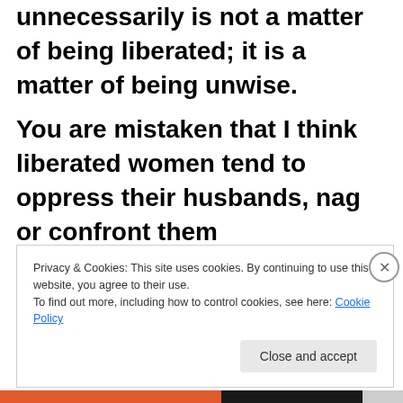unnecessarily is not a matter of being liberated; it is a matter of being unwise.
You are mistaken that I think liberated women tend to oppress their husbands, nag or confront them unnecessarily. I advise that women, regardless of whether
Privacy & Cookies: This site uses cookies. By continuing to use this website, you agree to their use.
To find out more, including how to control cookies, see here: Cookie Policy